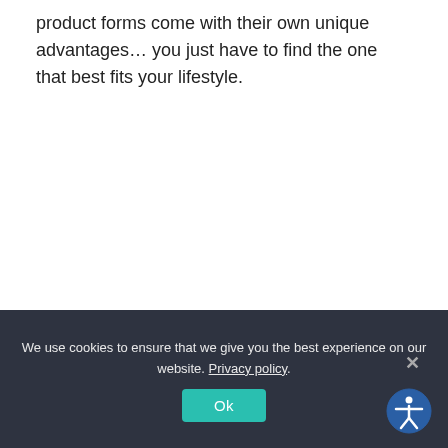product forms come with their own unique advantages… you just have to find the one that best fits your lifestyle.
We use cookies to ensure that we give you the best experience on our website. Privacy policy
Ok